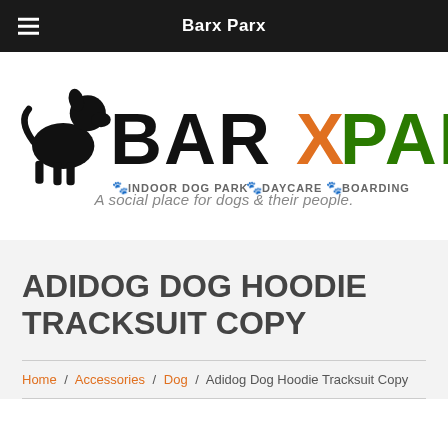Barx Parx
[Figure (logo): Barx Parx logo with dog silhouette, orange X, green PARX text, paw icons, and tagline: A social place for dogs & their people.]
ADIDOG DOG HOODIE TRACKSUIT COPY
Home / Accessories / Dog / Adidog Dog Hoodie Tracksuit Copy